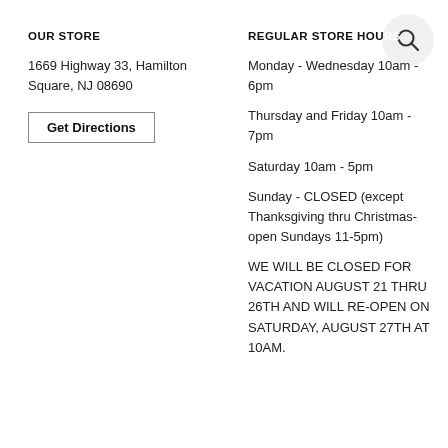OUR STORE
1669 Highway 33, Hamilton Square, NJ 08690
Get Directions
REGULAR STORE HOURS
Monday - Wednesday 10am - 6pm
Thursday and Friday 10am - 7pm
Saturday 10am - 5pm
Sunday - CLOSED (except Thanksgiving thru Christmas- open Sundays 11-5pm)
WE WILL BE CLOSED FOR VACATION AUGUST 21 THRU 26TH AND WILL RE-OPEN ON SATURDAY, AUGUST 27TH AT 10AM.
[Figure (other): Search icon circle in top right corner]